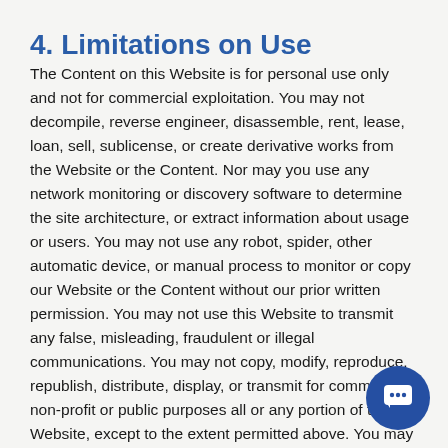4. Limitations on Use
The Content on this Website is for personal use only and not for commercial exploitation. You may not decompile, reverse engineer, disassemble, rent, lease, loan, sell, sublicense, or create derivative works from the Website or the Content. Nor may you use any network monitoring or discovery software to determine the site architecture, or extract information about usage or users. You may not use any robot, spider, other automatic device, or manual process to monitor or copy our Website or the Content without our prior written permission. You may not use this Website to transmit any false, misleading, fraudulent or illegal communications. You may not copy, modify, reproduce, republish, distribute, display, or transmit for commercial, non-profit or public purposes all or any portion of the Website, except to the extent permitted above. You may not use or otherwise export or re-export the Website or any portion thereof, the Content, or any software available on or through the Website in violation of the export control laws and regulations of